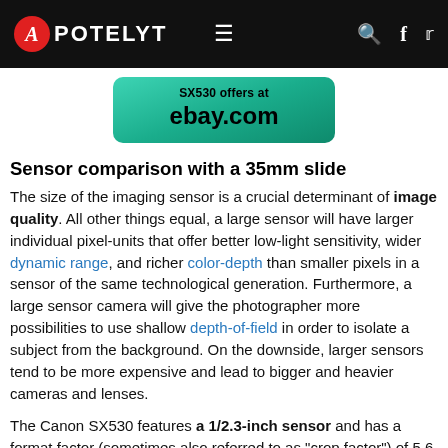APOTELYT
[Figure (other): SX530 offers at ebay.com banner button with teal/green gradient background]
Sensor comparison with a 35mm slide
The size of the imaging sensor is a crucial determinant of image quality. All other things equal, a large sensor will have larger individual pixel-units that offer better low-light sensitivity, wider dynamic range, and richer color-depth than smaller pixels in a sensor of the same technological generation. Furthermore, a large sensor camera will give the photographer more possibilities to use shallow depth-of-field in order to isolate a subject from the background. On the downside, larger sensors tend to be more expensive and lead to bigger and heavier cameras and lenses.
The Canon SX530 features a 1/2.3-inch sensor and has a format factor (sometimes also referred to as "crop factor") of 5.6. Within the spectrum of camera sensors, this places the Canon SX530 among the smaller-sensor digicams that favor